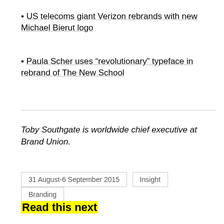• US telecoms giant Verizon rebrands with new Michael Bierut logo
• Paula Scher uses “revolutionary” typeface in rebrand of The New School
Toby Southgate is worldwide chief executive at Brand Union.
31 August-6 September 2015   Insight   Branding
Read this next